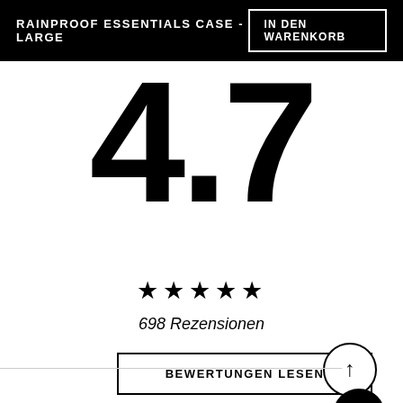RAINPROOF ESSENTIALS CASE - LARGE
4.7
★★★★★
698 Rezensionen
BEWERTUNGEN LESEN
[Figure (other): Scroll-to-top button: circle with upward arrow]
[Figure (other): Chat button: black circle with speech bubble icon]